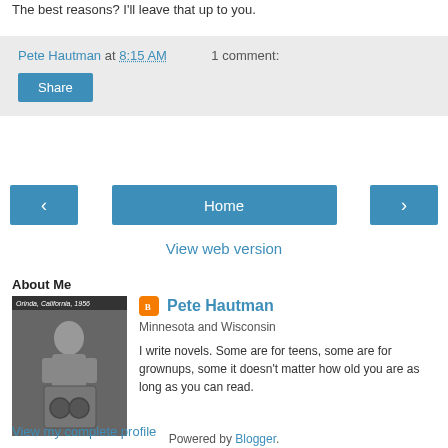The best reasons? I'll leave that up to you.
Pete Hautman at 8:15 AM    1 comment:
Share
[Figure (other): Navigation buttons: left arrow, Home, right arrow]
View web version
About Me
[Figure (photo): Black and white photo of a child, labeled Orinda, California, 1956]
Pete Hautman
Minnesota and Wisconsin
I write novels. Some are for teens, some are for grownups, some it doesn't matter how old you are as long as you can read.
View my complete profile
Powered by Blogger.